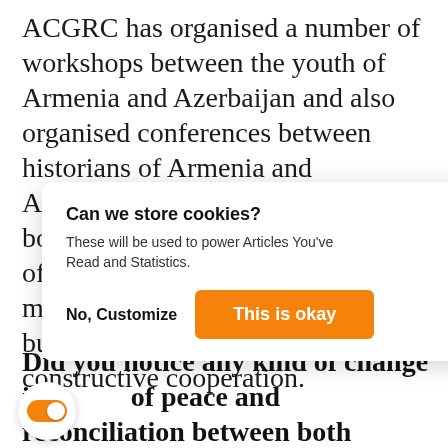ACGRC has organised a number of workshops between the youth of Armenia and Azerbaijan and also organised conferences between historians of Armenia and Azerbaijan. ACGRC has published books analysing history textbooks of Armenia and Azerbaijan and the main aim of these projects is trust building, hearing each other and constructive cooperation.
[Figure (screenshot): Cookie consent dialog box with title 'Can we store cookies?', description 'These will be used to power Articles You've Read and Statistics.', and two buttons: 'No, Customize' and 'This is okay' (orange button).]
Did you notice any kind of change in the field of peace and reconciliation between both communities after